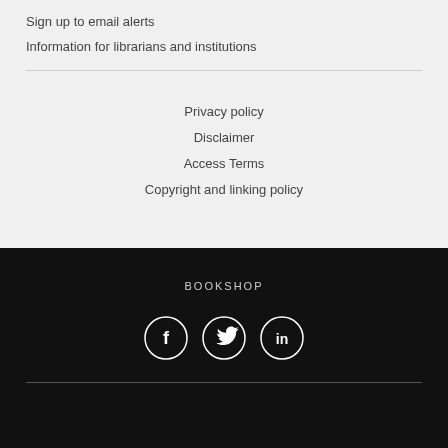Sign up to email alerts
Information for librarians and institutions
Privacy policy
Disclaimer
Access Terms
Copyright and linking policy
BOOKSHOP
[Figure (illustration): Three social media icons in circles: Facebook (f), Twitter (bird), LinkedIn (in)]